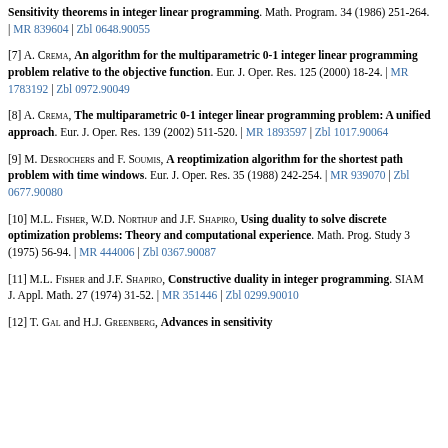[6] (continued) Sensitivity theorems in integer linear programming. Math. Program. 34 (1986) 251-264. | MR 839604 | Zbl 0648.90055
[7] A. Crema, An algorithm for the multiparametric 0-1 integer linear programming problem relative to the objective function. Eur. J. Oper. Res. 125 (2000) 18-24. | MR 1783192 | Zbl 0972.90049
[8] A. Crema, The multiparametric 0-1 integer linear programming problem: A unified approach. Eur. J. Oper. Res. 139 (2002) 511-520. | MR 1893597 | Zbl 1017.90064
[9] M. Desrochers and F. Soumis, A reoptimization algorithm for the shortest path problem with time windows. Eur. J. Oper. Res. 35 (1988) 242-254. | MR 939070 | Zbl 0677.90080
[10] M.L. Fisher, W.D. Northup and J.F. Shapiro, Using duality to solve discrete optimization problems: Theory and computational experience. Math. Prog. Study 3 (1975) 56-94. | MR 444006 | Zbl 0367.90087
[11] M.L. Fisher and J.F. Shapiro, Constructive duality in integer programming. SIAM J. Appl. Math. 27 (1974) 31-52. | MR 351446 | Zbl 0299.90010
[12] T. Gal and H.J. Greenberg, Advances in sensitivity